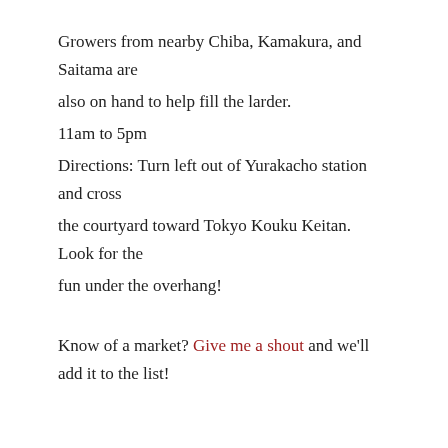Growers from nearby Chiba, Kamakura, and Saitama are also on hand to help fill the larder.
11am to 5pm
Directions: Turn left out of Yurakacho station and cross the courtyard toward Tokyo Kouku Keitan. Look for the fun under the overhang!
Know of a market? Give me a shout and we'll add it to the list!
LABELS: FARMER'S MARKET, FOOD EXPLORATION, JAPAN, SEASONAL FOODS, TOKYO, YOKOHAMA
SHARE